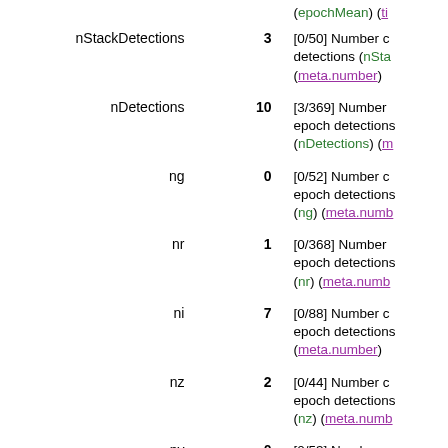| Name | Value | Description |
| --- | --- | --- |
|  |  | (epochMean) (ti... |
| nStackDetections | 3 | [0/50] Number c... detections (nSta... (meta.number) |
| nDetections | 10 | [3/369] Number ... epoch detections... (nDetections) (m... |
| ng | 0 | [0/52] Number c... epoch detections... (ng) (meta.numb... |
| nr | 1 | [0/368] Number ... epoch detections... (nr) (meta.numb... |
| ni | 7 | [0/88] Number c... epoch detections... (meta.number) |
| nz | 2 | [0/44] Number c... epoch detections... (nz) (meta.numb... |
| ny | 0 | [0/53] Number c... epoch detections... (ny) (meta.numb... |
| gQfPerfect |  | Maximum PSF v... function of si... |